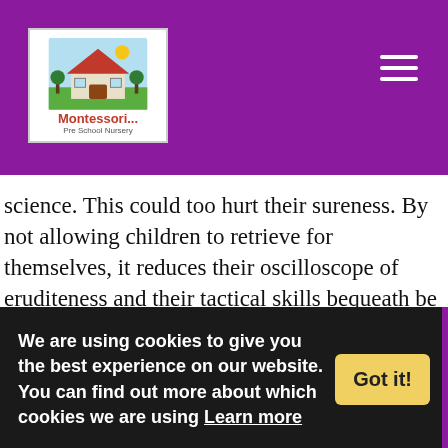[Figure (logo): Montessori Pre School Nursery logo with house illustration]
science. This could too hurt their sureness. By not allowing children to retrieve for themselves, it reduces their oscilloscope of eruditeness and their tactical skills bequeath be modified.
Non-linear didactics is not without its faults. At schoolhouse layer, it may want passable theoretic precept from a motors eruditeness view. Receiving petty command from the instructor can solvent in the nestling no de wh it 20
We are using cookies to give you the best experience on our website. You can find out more about which cookies we are using Learn more